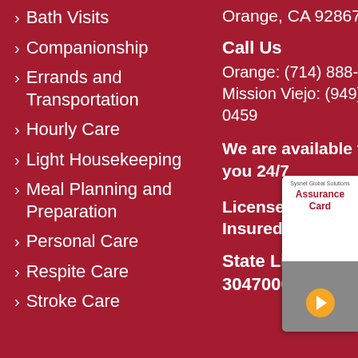Bath Visits
Companionship
Errands and Transportation
Hourly Care
Light Housekeeping
Meal Planning and Preparation
Personal Care
Respite Care
Stroke Care
Orange, CA 92867
Call Us
Orange: (714) 888-7278
Mission Viejo: (949) 997-0459
We are available to you 24/7
Licensed, Bonded & Insured
State License # 304700030
[Figure (other): Sysnet Global Solutions Assurance Card with orange arrow button]